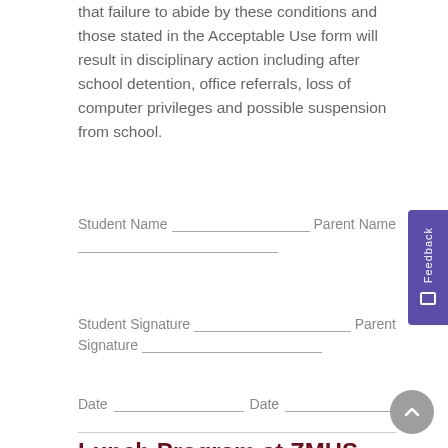that failure to abide by these conditions and those stated in the Acceptable Use form will result in disciplinary action including after school detention, office referrals, loss of computer privileges and possible suspension from school.
Student Name __________________ Parent Name
______________
Student Signature __________________ Parent Signature ______________
Date __________________ Date __________________
Lunch Program at ZMHS
THIS POLICY APPLIES TO ZAMA MS/HS